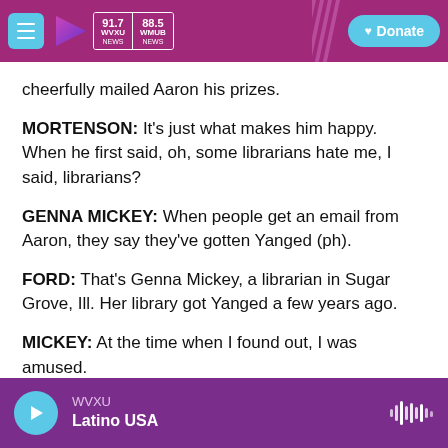WVXU 91.7 NEWS | WMUB 88.5 NEWS | Donate
cheerfully mailed Aaron his prizes.
MORTENSON: It's just what makes him happy. When he first said, oh, some librarians hate me, I said, librarians?
GENNA MICKEY: When people get an email from Aaron, they say they've gotten Yanged (ph).
FORD: That's Genna Mickey, a librarian in Sugar Grove, Ill. Her library got Yanged a few years ago.
MICKEY: At the time when I found out, I was amused.
WVXU | Latino USA